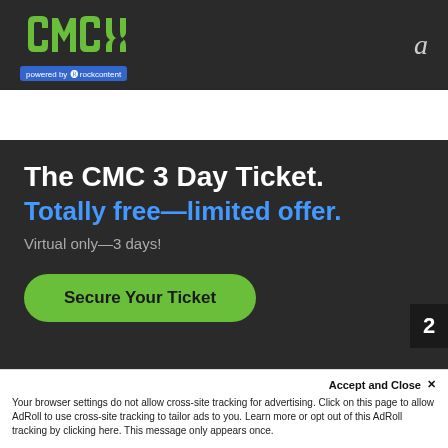[Figure (logo): CMC logo (green stylized text) with 'powered by rockcontent' badge, on dark header bar with letter 'a' on the right]
The CMC 3 Day Ticket.
Totally free—limited offer.
Virtual only—3 days!
Secure Your Ticket
Totally free—just for you. S
Accept and Close ×
Your browser settings do not allow cross-site tracking for advertising. Click on this page to allow AdRoll to use cross-site tracking to tailor ads to you. Learn more or opt out of this AdRoll tracking by clicking here. This message only appears once.